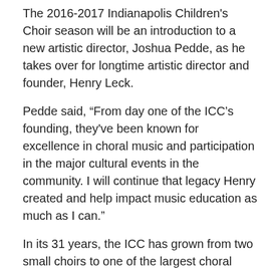The 2016-2017 Indianapolis Children's Choir season will be an introduction to a new artistic director, Joshua Pedde, as he takes over for longtime artistic director and founder, Henry Leck.
Pedde said, “From day one of the ICC’s founding, they've been known for excellence in choral music and participation in the major cultural events in the community. I will continue that legacy Henry created and help impact music education as much as I can.”
In its 31 years, the ICC has grown from two small choirs to one of the largest choral organizations of its kind, with nearly 20 choirs and many music classes serving more than 3,000 young people from ages 18 months to 18 years. The ICC impacts an additional 2,000 children